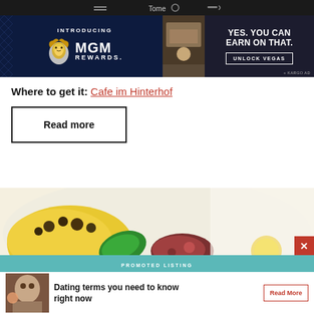[Figure (screenshot): Top navigation bar, dark background with partial text visible]
[Figure (screenshot): MGM Rewards advertisement banner with dark navy background. Text reads: INTRODUCING MGM REWARDS. YES. YOU CAN EARN ON THAT. UNLOCK VEGAS button. + KARGO AD label.]
Where to get it: Cafe im Hinterhof
Read more
[Figure (photo): Food photo showing yellow/golden dish with dark garnishes and colorful ingredients on a white plate, blurred background]
[Figure (screenshot): Bottom promoted listing ad: Dating terms you need to know right now, with Read More button]